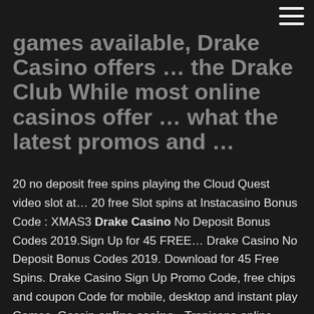games available, Drake Casino offers … the Drake Club While most online casinos offer … what the latest promos and …
20 no deposit free spins playing the Cloud Quest video slot at… 20 free Slot spins at Instacasino Bonus Code : XMAS3 Drake Casino No Deposit Bonus Codes 2019.Sign Up for 45 FREE… Drake Casino No Deposit Bonus Codes 2019. Download for 45 Free Spins. Drake Casino Sign Up Promo Code, free chips and coupon Code for mobile, desktop and instant play Games. Gossip online casino - Tropicana online casino nj Casino and, gossip, slots 5 no deposit bonus. 5 casino bonus code for Drake, casino Gossip, slots, casino. Find out everything you need to know about.